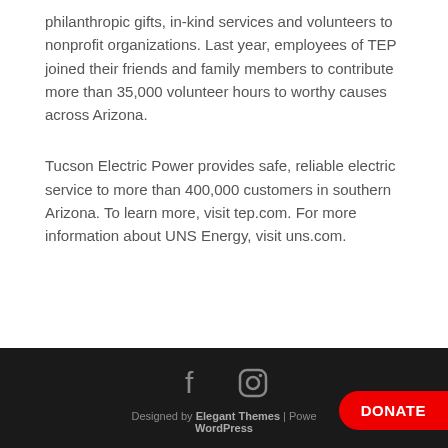philanthropic gifts, in-kind services and volunteers to nonprofit organizations. Last year, employees of TEP joined their friends and family members to contribute more than 35,000 volunteer hours to worthy causes across Arizona.
Tucson Electric Power provides safe, reliable electric service to more than 400,000 customers in southern Arizona. To learn more, visit tep.com. For more information about UNS Energy, visit uns.com.
Designed by Elegant Themes | Powered by WordPress